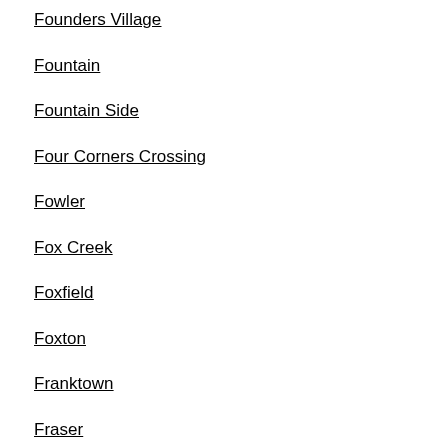Founders Village
Fountain
Fountain Side
Four Corners Crossing
Fowler
Fox Creek
Foxfield
Foxton
Franktown
Fraser
Frederick